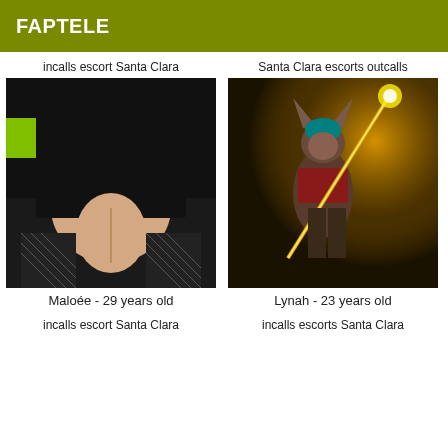FAPTELE
incalls escort Santa Clara
[Figure (photo): Photo showing a person from behind wearing a black skirt and fishnet stockings]
Maloée - 29 years old
incalls escort Santa Clara
Santa Clara escorts outcalls
[Figure (photo): Dark fantasy-style image of a humanoid creature with animal ears holding a glowing weapon]
Lynah - 23 years old
incalls escorts Santa Clara